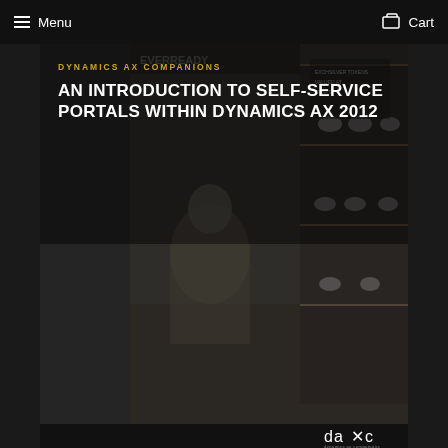Menu   Cart
[Figure (photo): Black and white vintage photo of a person working at a diner or soda fountain counter, with shelves of cups and mugs in the background. Dark moody tone.]
DYNAMICS AX COMPANIONS
AN INTRODUCTION TO SELF-SERVICE PORTALS WITHIN DYNAMICS AX 2012
[Figure (logo): daxc - dynamics ax companions logo in white on dark background]